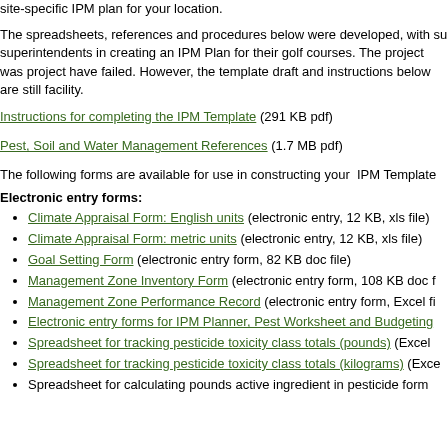site-specific IPM plan for your location.
The spreadsheets, references and procedures below were developed, with su superintendents in creating an IPM Plan for their golf courses. The project was project have failed. However, the template draft and instructions below are still facility.
Instructions for completing the IPM Template (291 KB pdf)
Pest, Soil and Water Management References (1.7 MB pdf)
The following forms are available for use in constructing your IPM Template
Electronic entry forms:
Climate Appraisal Form: English units (electronic entry, 12 KB, xls file)
Climate Appraisal Form: metric units (electronic entry, 12 KB, xls file)
Goal Setting Form (electronic entry form, 82 KB doc file)
Management Zone Inventory Form (electronic entry form, 108 KB doc f
Management Zone Performance Record (electronic entry form, Excel fi
Electronic entry forms for IPM Planner, Pest Worksheet and Budgeting
Spreadsheet for tracking pesticide toxicity class totals (pounds) (Excel
Spreadsheet for tracking pesticide toxicity class totals (kilograms) (Exce
Spreadsheet for calculating pounds active ingredient in pesticide form